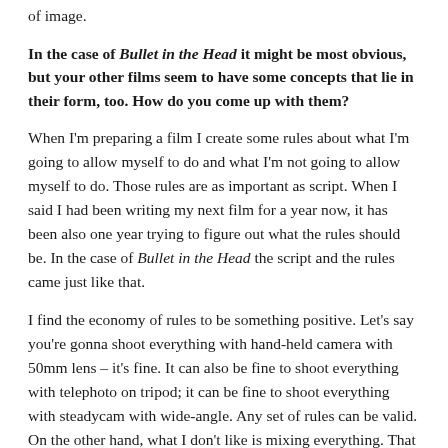of image.
In the case of Bullet in the Head it might be most obvious, but your other films seem to have some concepts that lie in their form, too. How do you come up with them?
When I'm preparing a film I create some rules about what I'm going to allow myself to do and what I'm not going to allow myself to do. Those rules are as important as script. When I said I had been writing my next film for a year now, it has been also one year trying to figure out what the rules should be. In the case of Bullet in the Head the script and the rules came just like that.
I find the economy of rules to be something positive. Let's say you're gonna shoot everything with hand-held camera with 50mm lens – it's fine. It can also be fine to shoot everything with telephoto on tripod; it can be fine to shoot everything with steadycam with wide-angle. Any set of rules can be valid. On the other hand, what I don't like is mixing everything. That is why I prefer to create a set of rules and usually it takes a lot of thinking to find which rules are appropriate for that particular film.